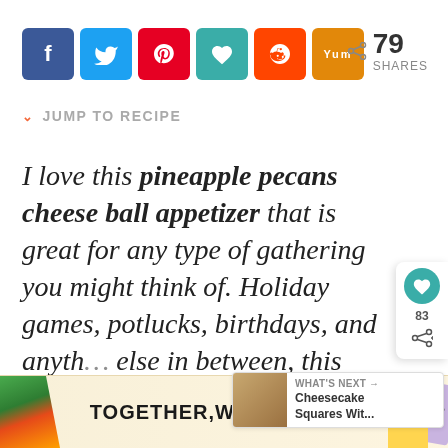[Figure (screenshot): Social sharing buttons: Facebook (blue), Twitter (light blue), Pinterest (red), heart/Yummly (teal), Reddit (orange), Yum (orange). Share count: 79 SHARES.]
JUMP TO RECIPE
I love this pineapple pecans cheese ball appetizer that is great for any type of gathering you might think of. Holiday games, potlucks, birthdays, and anything else in between, this recipe will the stars on the table.
[Figure (screenshot): Floating share widget on right side with teal heart icon, count 83, and share icon.]
[Figure (screenshot): What's Next widget showing Cheesecake Squares Wit... with thumbnail image.]
[Figure (screenshot): Advertisement banner: TOGETHER WE STAND with colorful decorative elements on left and right sides.]